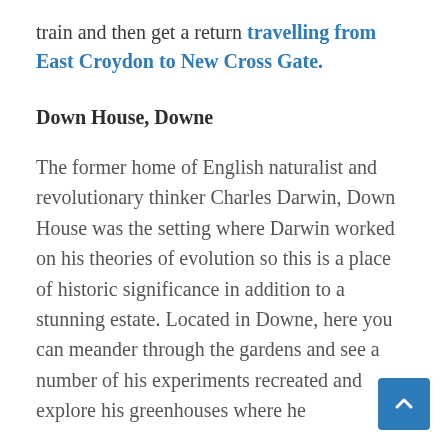train and then get a return travelling from East Croydon to New Cross Gate.
Down House, Downe
The former home of English naturalist and revolutionary thinker Charles Darwin, Down House was the setting where Darwin worked on his theories of evolution so this is a place of historic significance in addition to a stunning estate. Located in Downe, here you can meander through the gardens and see a number of his experiments recreated and explore his greenhouses where he